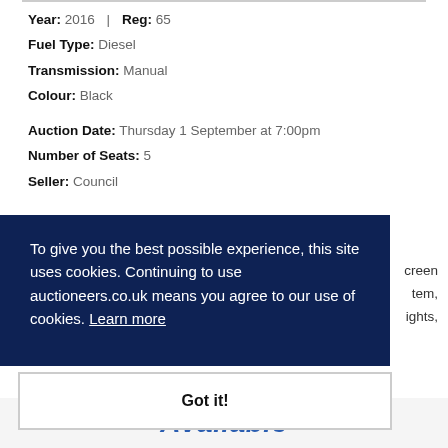Year: 2016 | Reg: 65
Fuel Type: Diesel
Transmission: Manual
Colour: Black
Auction Date: Thursday 1 September at 7:00pm
Number of Seats: 5
Seller: Council
...creen ...tem, ...ights,
To give you the best possible experience, this site uses cookies. Continuing to use auctioneers.co.uk means you agree to our use of cookies. Learn more
Got it!
Available